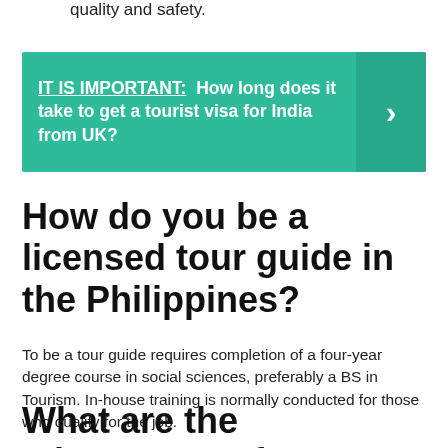quality and safety.
[Figure (infographic): Green banner with bold white text: IT IS IMPORTANT: How long does it take to get a tourist visa for India from UK? with a right-arrow chevron on the right side.]
How do you be a licensed tour guide in the Philippines?
To be a tour guide requires completion of a four-year degree course in social sciences, preferably a BS in Tourism. In-house training is normally conducted for those who qualify for the job.
What are the advantages of